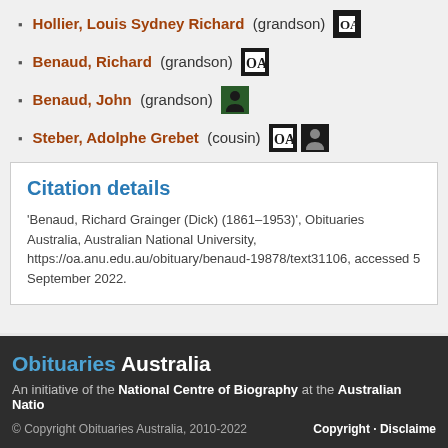Hollier, Louis Sydney Richard (grandson)
Benaud, Richard (grandson)
Benaud, John (grandson)
Steber, Adolphe Grebet (cousin)
Citation details
'Benaud, Richard Grainger (Dick) (1861–1953)', Obituaries Australia, Australian National University, https://oa.anu.edu.au/obituary/benaud-19878/text31106, accessed 5 September 2022.
Obituaries Australia
An initiative of the National Centre of Biography at the Australian National University
© Copyright Obituaries Australia, 2010-2022   Copyright · Disclaimer